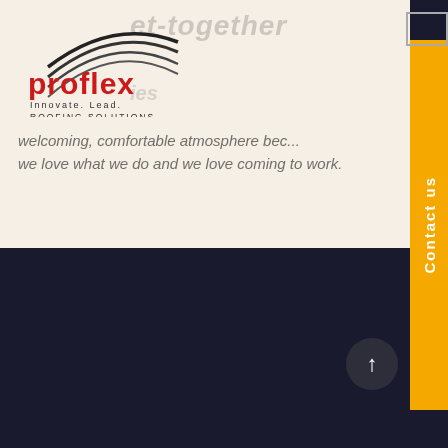[Figure (logo): Proflex Roofing Solutions logo with arc lines and tagline Innovate. Lead.]
et-together
ies
welcoming, comfortable atmosphere bec... we love what we do and we love coming to work.
[Figure (other): Contact us vertical tab button in orange/amber color on right side]
[Figure (other): Scroll to top button - dark circle with upward arrow, bottom right of dark section]